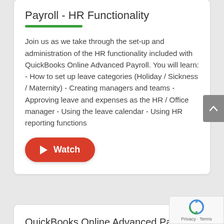Payroll - HR Functionality
Join us as we take through the set-up and administration of the HR functionality included with QuickBooks Online Advanced Payroll. You will learn: - How to set up leave categories (Holiday / Sickness / Maternity) - Creating managers and teams - Approving leave and expenses as the HR / Office manager - Using the leave calendar - Using HR reporting functions
[Figure (other): Red rounded button with play icon and text 'Watch']
QuickBooks Online Advanced Payroll - Enhanced Functionality